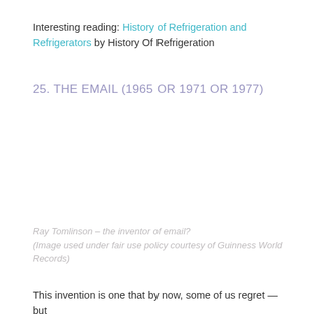Interesting reading: History of Refrigeration and Refrigerators by History Of Refrigeration
25. THE EMAIL (1965 OR 1971 OR 1977)
Ray Tomlinson – the inventor of email? (Image used under fair use policy courtesy of Guinness World Records)
This invention is one that by now, some of us regret — but